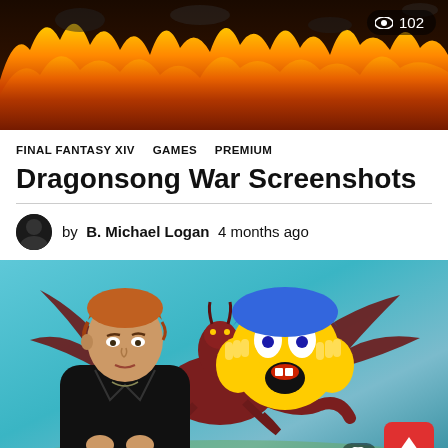[Figure (screenshot): Hero banner image showing a fiery battle scene from a video game, with flames and dark smoky sky. A view count badge showing an eye icon and '102' is overlaid in the top-right corner.]
FINAL FANTASY XIV   GAMES   PREMIUM
Dragonsong War Screenshots
by B. Michael Logan  4 months ago
[Figure (screenshot): A man with short auburn hair wearing a black jacket sits in front of a colorful video game background featuring a large dragon with outstretched wings. A large screaming face emoji (😱) is overlaid on the image. A view badge and red scroll-to-top button appear in the bottom-right corner.]